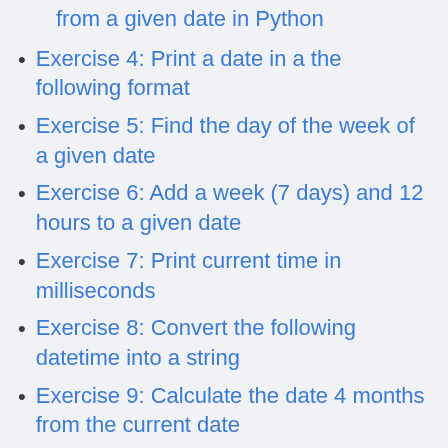from a given date in Python
Exercise 4: Print a date in a the following format
Exercise 5: Find the day of the week of a given date
Exercise 6: Add a week (7 days) and 12 hours to a given date
Exercise 7: Print current time in milliseconds
Exercise 8: Convert the following datetime into a string
Exercise 9: Calculate the date 4 months from the current date
Exercise 10: Calculate number of days